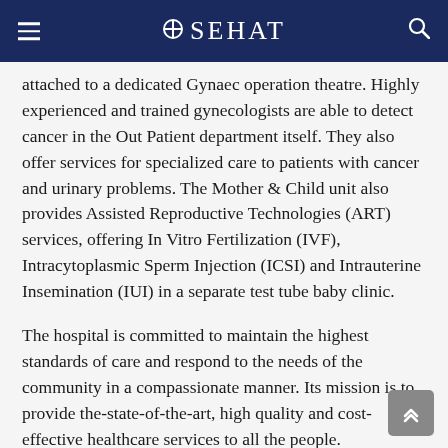SEHAT
attached to a dedicated Gynaec operation theatre. Highly experienced and trained gynecologists are able to detect cancer in the Out Patient department itself. They also offer services for specialized care to patients with cancer and urinary problems. The Mother & Child unit also provides Assisted Reproductive Technologies (ART) services, offering In Vitro Fertilization (IVF), Intracytoplasmic Sperm Injection (ICSI) and Intrauterine Insemination (IUI) in a separate test tube baby clinic.
The hospital is committed to maintain the highest standards of care and respond to the needs of the community in a compassionate manner. Its mission is to provide the-state-of-the-art, high quality and cost-effective healthcare services to all the people.